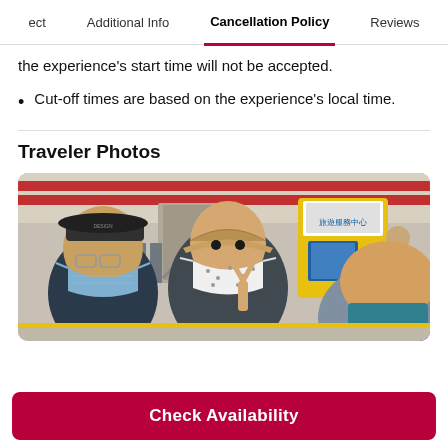ect   Additional Info   Cancellation Policy   Reviews
the experience's start time will not be accepted.
Cut-off times are based on the experience's local time.
Traveler Photos
[Figure (photo): Three travelers wearing masks posing for a selfie inside a subway/metro station in Taiwan. The station shows turnstiles, escalators, and a yellow information kiosk with Chinese characters. Two people in the foreground wear face masks (one blue surgical mask, one patterned mask with a bucket hat), and a third person is partially visible on the right.]
Check Availability